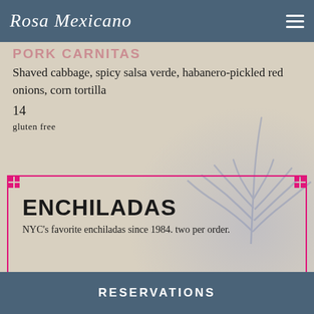Rosa Mexicano
PORK CARNITAS
Shaved cabbage, spicy salsa verde, habanero-pickled red onions, corn tortilla
14
gluten free
ENCHILADAS
NYC's favorite enchiladas since 1984. two per order.
RESERVATIONS